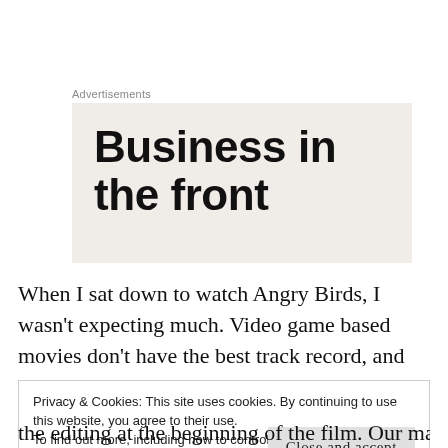Advertisements
[Figure (other): Advertisement banner with large bold text reading 'Business in the front' on a light beige/grey background]
When I sat down to watch Angry Birds, I wasn't expecting much. Video game based movies don't have the best track record, and children's movies are very hit-or-miss. This led me to be very surprised when I
Privacy & Cookies: This site uses cookies. By continuing to use this website, you agree to their use.
To find out more, including how to control cookies, see here:
Cookie Policy
Close and accept
the editing at the beginning of the film. Our main